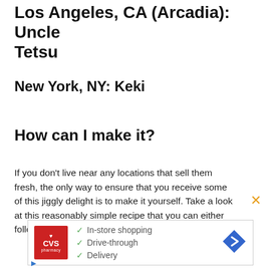Los Angeles, CA (Arcadia): Uncle Tetsu
New York, NY: Keki
How can I make it?
If you don't live near any locations that sell them fresh, the only way to ensure that you receive some of this jiggly delight is to make it yourself. Take a look at this reasonably simple recipe that you can either follow or store on Glutto for later...
[Figure (other): CVS Pharmacy advertisement showing in-store shopping, drive-through, and delivery options with checkmarks and a navigation arrow icon]